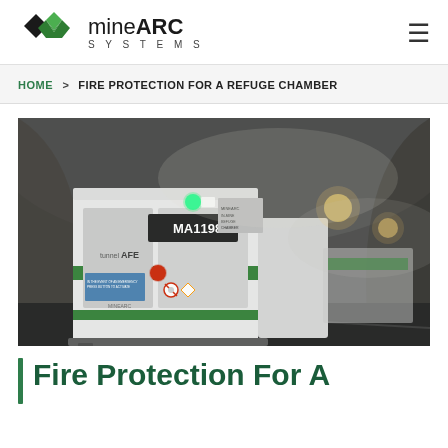mineARC SYSTEMS
HOME > FIRE PROTECTION FOR A REFUGE CHAMBER
[Figure (photo): A MineARC refuge chamber (MA1198) photographed inside a tunnel, with a green indicator light on, and smoke or mist visible in the background. The white chamber has green stripes and labels reading 'tunnel AFE' among others.]
Fire Protection For A